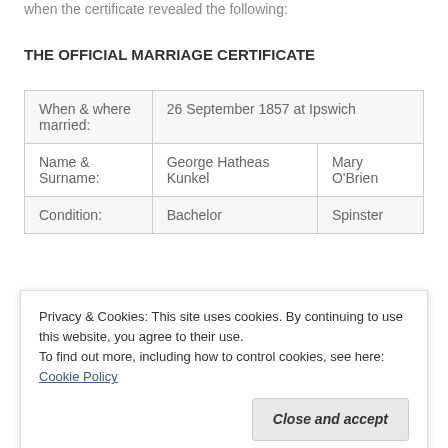when the certificate revealed the following:
THE OFFICIAL MARRIAGE CERTIFICATE
| When & where married: | 26 September 1857 at Ipswich |  |
| Name & Surname: | George Hatheas Kunkel | Mary O'Brien |
| Condition: | Bachelor | Spinster |
| Age: |  |  |
Privacy & Cookies: This site uses cookies. By continuing to use this website, you agree to their use.
To find out more, including how to control cookies, see here: Cookie Policy
Close and accept